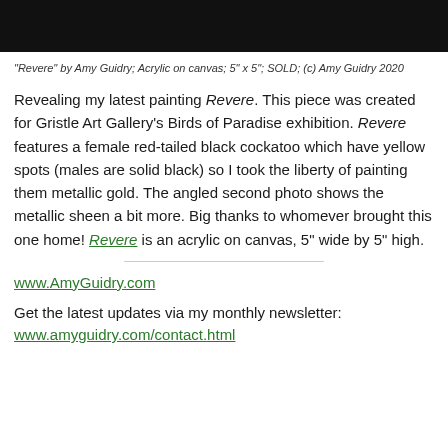[Figure (photo): Black bar representing cropped top of painting image]
"Revere" by Amy Guidry; Acrylic on canvas; 5" x 5"; SOLD; (c) Amy Guidry 2020
Revealing my latest painting Revere. This piece was created for Gristle Art Gallery's Birds of Paradise exhibition. Revere features a female red-tailed black cockatoo which have yellow spots (males are solid black) so I took the liberty of painting them metallic gold. The angled second photo shows the metallic sheen a bit more. Big thanks to whomever brought this one home! Revere is an acrylic on canvas, 5" wide by 5" high.
www.AmyGuidry.com
Get the latest updates via my monthly newsletter:
www.amyguidry.com/contact.html